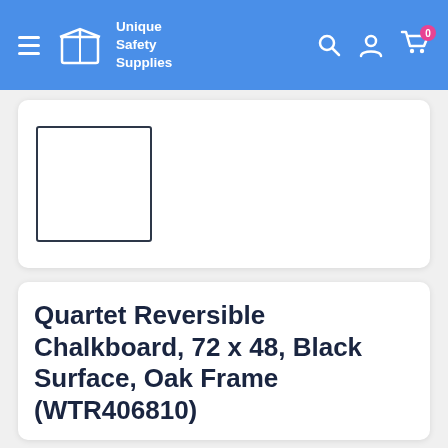Unique Safety Supplies
[Figure (photo): Product thumbnail placeholder — white square with dark border]
Quartet Reversible Chalkboard, 72 x 48, Black Surface, Oak Frame (WTR406810)
QUARTET